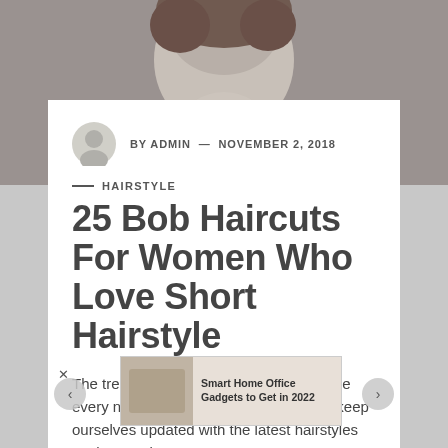[Figure (photo): Top portion of a person's face with short brown hair, smiling, on a gray background]
BY ADMIN — NOVEMBER 2, 2018
— HAIRSTYLE
25 Bob Haircuts For Women Who Love Short Hairstyle
The trend in hairstyle keeps changing one every now and then. Hence we need to keep ourselves updated with the latest hairstyles so that we don't...